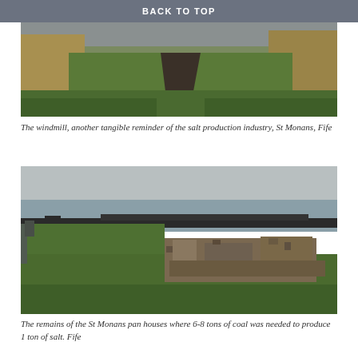BACK TO TOP
[Figure (photo): A grassy coastal path with dry brown vegetation on the left and a green grassy slope, with grey sky in background. St Monans windmill area, Fife.]
The windmill, another tangible reminder of the salt production industry, St Monans, Fife
[Figure (photo): A coastal landscape showing remains of stone pan house ruins on green grass, with the sea and grey sky in the background. St Monans, Fife.]
The remains of the St Monans pan houses where 6-8 tons of coal was needed to produce 1 ton of salt. Fife